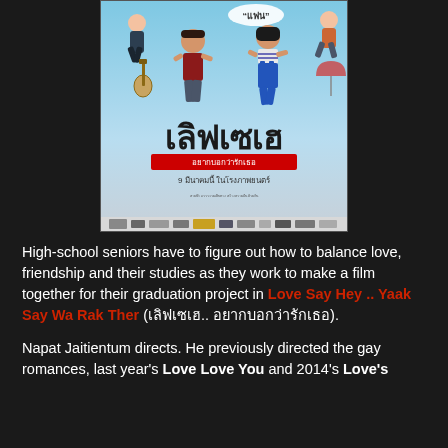[Figure (photo): Movie poster for Thai film 'Love Say Hey .. Yaak Say Wa Rak Ther' (เลิฟเซเฮ อยากบอกว่ารักเธอ). Shows young people jumping in the air on a light blue background with large Thai script title text, red subtitle banner, and Thai release date text.]
High-school seniors have to figure out how to balance love, friendship and their studies as they work to make a film together for their graduation project in Love Say Hey .. Yaak Say Wa Rak Ther (เลิฟเซเฮ.. อยากบอกว่ารักเธอ).
Napat Jaitientum directs. He previously directed the gay romances, last year's Love Love You and 2014's Love's